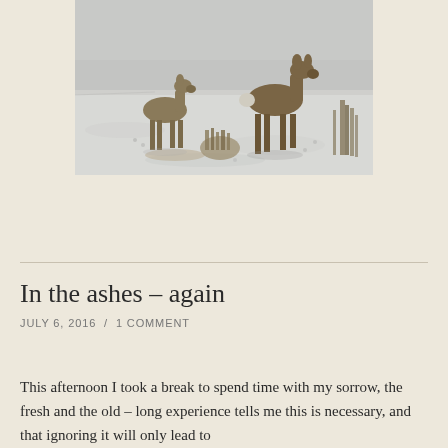[Figure (photo): Two deer standing in a snow-dusted field, photographed in overcast winter light. Dry grass and shrubs visible in background.]
In the ashes – again
JULY 6, 2016  /  1 COMMENT
This afternoon I took a break to spend time with my sorrow, the fresh and the old – long experience tells me this is necessary, and that ignoring it will only lead to